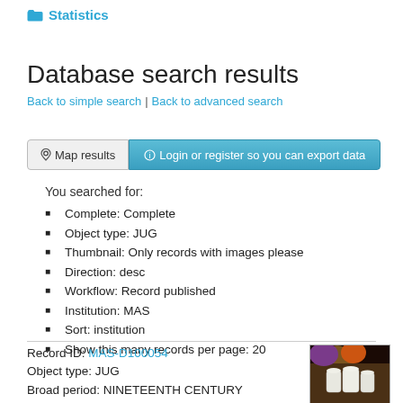Statistics
Database search results
Back to simple search | Back to advanced search
Map results   Login or register so you can export data
You searched for:
Complete: Complete
Object type: JUG
Thumbnail: Only records with images please
Direction: desc
Workflow: Record published
Institution: MAS
Sort: institution
Show this many records per page: 20
Record ID: MAS-D100054
Object type: JUG
Broad period: NINETEENTH CENTURY
County: Kent
[Figure (photo): Thumbnail photo of white ceramic jugs with colorful items in background]